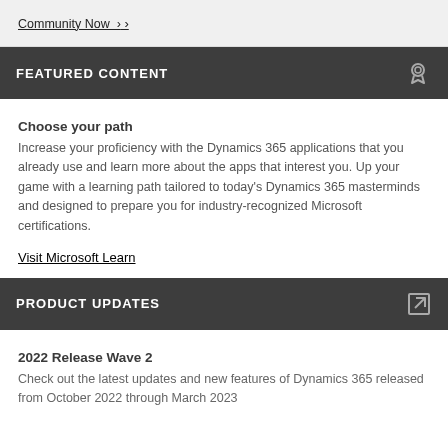Community Now ›
FEATURED CONTENT
Choose your path
Increase your proficiency with the Dynamics 365 applications that you already use and learn more about the apps that interest you. Up your game with a learning path tailored to today's Dynamics 365 masterminds and designed to prepare you for industry-recognized Microsoft certifications.
Visit Microsoft Learn
PRODUCT UPDATES
2022 Release Wave 2
Check out the latest updates and new features of Dynamics 365 released from October 2022 through March 2023